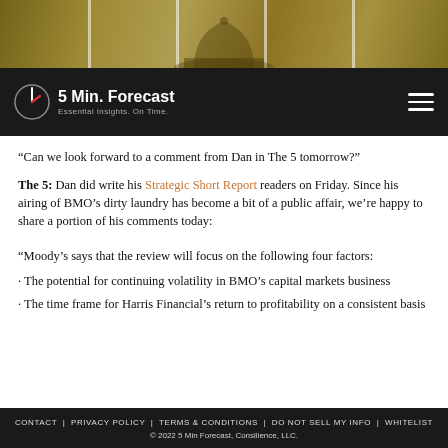[Figure (photo): Sepia-toned hero image of a city skyline with a domed capitol building]
5 Min. Forecast — Essential Insights. On Time.
“Can we look forward to a comment from Dan in The 5 tomorrow?”
The 5: Dan did write his Strategic Short Report readers on Friday. Since his airing of BMO’s dirty laundry has become a bit of a public affair, we’re happy to share a portion of his comments today:
“Moody’s says that the review will focus on the following four factors:
· The potential for continuing volatility in BMO’s capital markets business
· The time frame for Harris Financial’s return to profitability on a consistent basis
CONTACT | PRIVACY POLICY | TERMS & CONDITIONS | DO NOT SELL MY INFO | WHITELIST
© 2022 5 Min Forecast, Consilience, LLC.